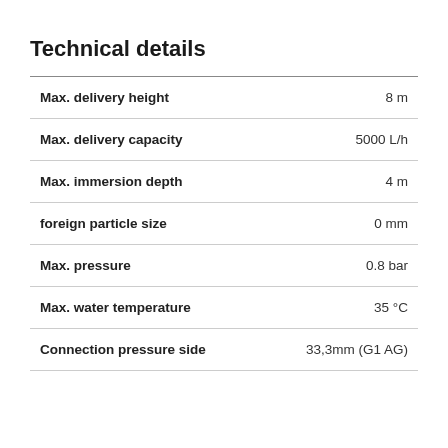Technical details
| Property | Value |
| --- | --- |
| Max. delivery height | 8 m |
| Max. delivery capacity | 5000 L/h |
| Max. immersion depth | 4 m |
| foreign particle size | 0 mm |
| Max. pressure | 0.8 bar |
| Max. water temperature | 35 °C |
| Connection pressure side | 33,3mm (G1 AG) |